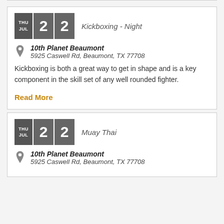Kickboxing - Night
10th Planet Beaumont
5925 Caswell Rd, Beaumont, TX 77708
Kickboxing is both a great way to get in shape and is a key component in the skill set of any well rounded fighter.
Read More
Muay Thai
10th Planet Beaumont
5925 Caswell Rd, Beaumont, TX 77708